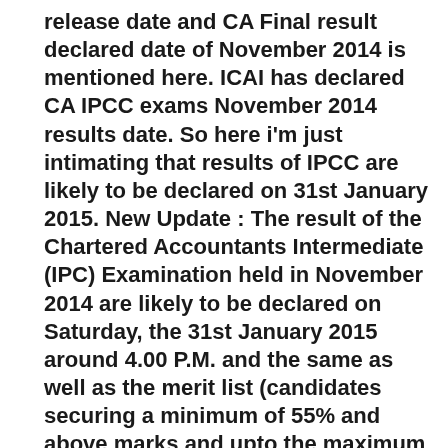release date and CA Final result declared date of November 2014 is mentioned here. ICAI has declared CA IPCC exams November 2014 results date. So here i'm just intimating that results of IPCC are likely to be declared on 31st January 2015. New Update : The result of the Chartered Accountants Intermediate (IPC) Examination held in November 2014 are likely to be declared on Saturday, the 31st January 2015 around 4.00 P.M. and the same as well as the merit list (candidates securing a minimum of 55% and above marks and upto the maximum of 50th Rank on all India basis will be available on the following website: